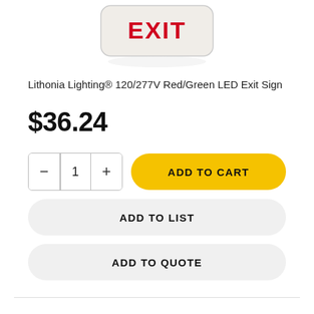[Figure (photo): Lithonia Lighting LED Exit Sign product photo showing a white rectangular exit sign with red EXIT text, viewed at an angle from above.]
Lithonia Lighting® 120/277V Red/Green LED Exit Sign
$36.24
ADD TO CART
ADD TO LIST
ADD TO QUOTE